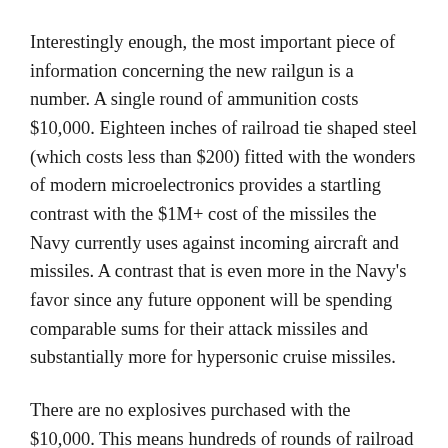Interestingly enough, the most important piece of information concerning the new railgun is a number. A single round of ammunition costs $10,000. Eighteen inches of railroad tie shaped steel (which costs less than $200) fitted with the wonders of modern microelectronics provides a startling contrast with the $1M+ cost of the missiles the Navy currently uses against incoming aircraft and missiles. A contrast that is even more in the Navy's favor since any future opponent will be spending comparable sums for their attack missiles and substantially more for hypersonic cruise missiles.
There are no explosives purchased with the $10,000. This means hundreds of rounds of railroad ties and microelectronics can be safely stored in a ship's